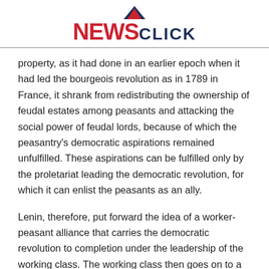NEWS CLICK
property, as it had done in an earlier epoch when it had led the bourgeois revolution as in 1789 in France, it shrank from redistributing the ownership of feudal estates among peasants and attacking the social power of feudal lords, because of which the peasantry's democratic aspirations remained unfulfilled. These aspirations can be fulfilled only by the proletariat leading the democratic revolution, for which it can enlist the peasants as an ally.
Lenin, therefore, put forward the idea of a worker-peasant alliance that carries the democratic revolution to completion under the leadership of the working class. The working class then goes on to a socialist revolution, changing its allies within the peasantry along the way, in accordance